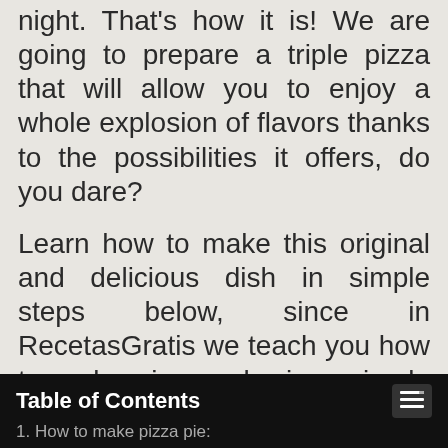night. That's how it is! We are going to prepare a triple pizza that will allow you to enjoy a whole explosion of flavors thanks to the possibilities it offers, do you dare?
Learn how to make this original and delicious dish in simple steps below, since in RecetasGratis we teach you how to make pizza cake in a simple and practical way.
Table of Contents
1. How to make pizza pie: